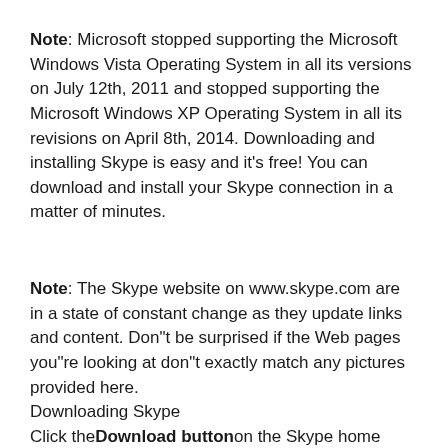Note: Microsoft stopped supporting the Microsoft Windows Vista Operating System in all its versions on July 12th, 2011 and stopped supporting the Microsoft Windows XP Operating System in all its revisions on April 8th, 2014. Downloading and installing Skype is easy and it's free! You can download and install your Skype connection in a matter of minutes.
Note: The Skype website on www.skype.com are in a state of constant change as they update links and content. Don"t be surprised if the Web pages you"re looking at don"t exactly match any pictures provided here. Downloading Skype Click the Download button on the Skype home page to open the Download page.
Steps will be described showing you how you will...